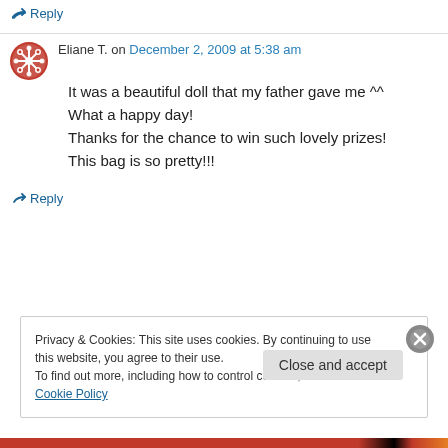↳ Reply
Eliane T. on December 2, 2009 at 5:38 am
It was a beautiful doll that my father gave me ^^
What a happy day!
Thanks for the chance to win such lovely prizes!
This bag is so pretty!!!
↳ Reply
Privacy & Cookies: This site uses cookies. By continuing to use this website, you agree to their use.
To find out more, including how to control cookies, see here: Cookie Policy
Close and accept